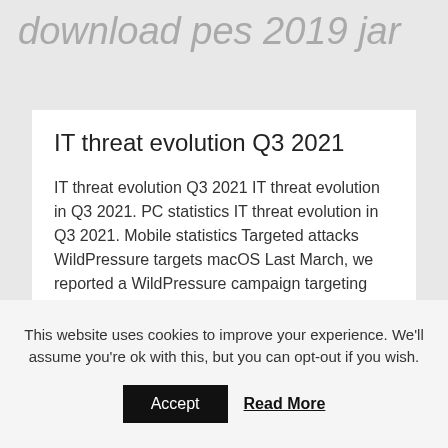download pes 2019 jar
IT threat evolution Q3 2021
IT threat evolution Q3 2021 IT threat evolution in Q3 2021. PC statistics IT threat evolution in Q3 2021. Mobile statistics Targeted attacks WildPressure targets macOS Last March, we reported a WildPressure campaign targeting industrial-related entities in the Middle East. While tracking this threat actor in spring 2021, we discovered a newer version. It contains [...]
This website uses cookies to improve your experience. We'll assume you're ok with this, but you can opt-out if you wish.
Accept
Read More